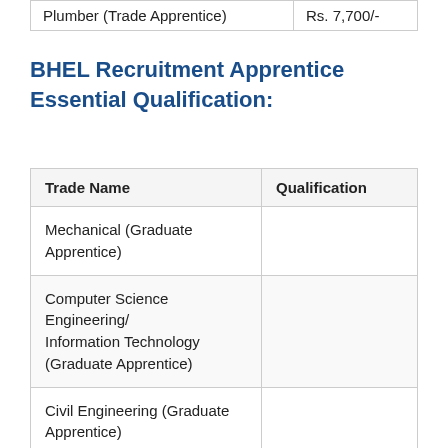| Plumber (Trade Apprentice) | Rs. 7,700/- |
BHEL Recruitment Apprentice Essential Qualification:
| Trade Name | Qualification |
| --- | --- |
| Mechanical (Graduate Apprentice) |  |
| Computer Science Engineering/ Information Technology (Graduate Apprentice) |  |
| Civil Engineering (Graduate Apprentice) |  |
| Electronics & Communication Engineering (Graduate Apprentice) | 12th, Graduation in Engineering |
| Electrical & Electronics |  |